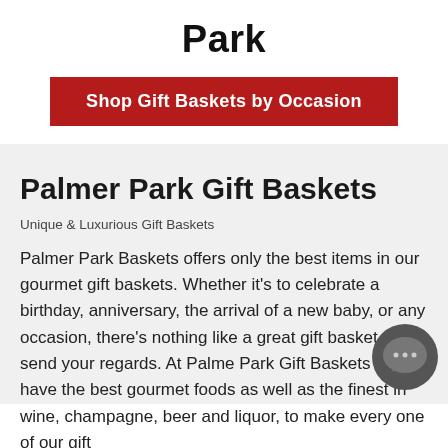Park
[Figure (other): Red button with white text: Shop Gift Baskets by Occasion]
Palmer Park Gift Baskets
Unique & Luxurious Gift Baskets
Palmer Park Baskets offers only the best items in our gourmet gift baskets. Whether it’s to celebrate a birthday, anniversary, the arrival of a new baby, or any occasion, there’s nothing like a great gift basket to send your regards. At Palmer Park Gift Baskets we have the best gourmet foods as well as the finest in wine, champagne, beer and liquor, to make every one of our gift